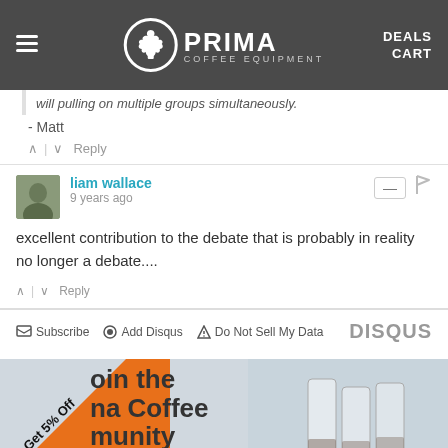PRIMA COFFEE EQUIPMENT | DEALS | CART
...will pulling on multiple groups simultaneously.
- Matt
↑ | ↓  Reply
liam wallace
9 years ago
excellent contribution to the debate that is probably in reality no longer a debate....
↑ | ↓  Reply
Subscribe  Add Disqus  Do Not Sell My Data   DISQUS
[Figure (other): Prima Coffee Equipment promotional banner with orange triangle overlay reading 'Get 5% Off', text 'join the Prima Coffee community' and coffee glasses in the background]